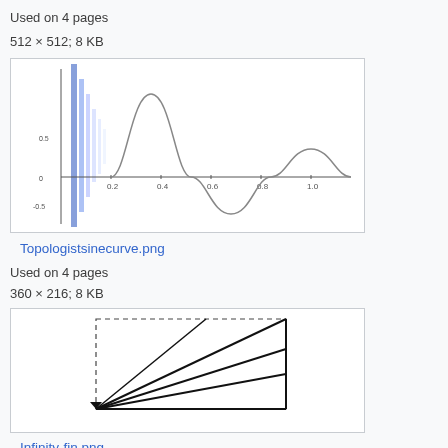Used on 4 pages
512 × 512; 8 KB
[Figure (continuous-plot): Topologist sine curve plot showing oscillating sine function near x=0 with blue shaded bars on the left and a gray damped sine wave extending to the right.]
Topologistsinecurve.png
Used on 4 pages
360 × 216; 8 KB
[Figure (engineering-diagram): Infinity-fin diagram showing a geometric figure with multiple triangular fins radiating from a common point at lower left, with dashed lines forming a rectangular outline.]
Infinity-fin.png